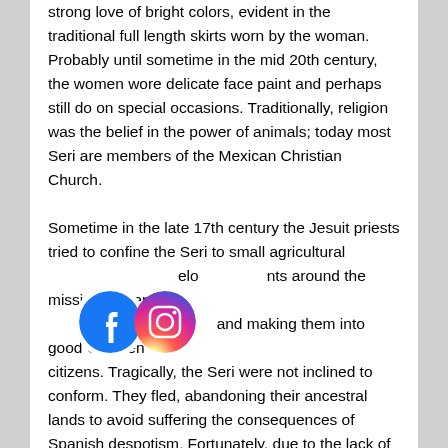strong love of bright colors, evident in the traditional full length skirts worn by the woman. Probably until sometime in the mid 20th century, the women wore delicate face paint and perhaps still do on special occasions. Traditionally, religion was the belief in the power of animals; today most Seri are members of the Mexican Christian Church. Sometime in the late 17th century the Jesuit priests tried to confine the Seri to small agricultural elements around the missions, intent on [making] them and making them into good Christen citizens. Tragically, the Seri were not inclined to conform. They fled, abandoning their ancestral lands to avoid suffering the consequences of Spanish despotism. Fortunately, due to the lack of rainfall and the absence of rich mineral deposits in the area, the Spanish moved on to greener pastures. However, the population dwindled down to approximately 300 or less by the 1930s. Survivors were mostly concentrated on
[Figure (logo): Facebook logo circle icon and Instagram logo circle icon, overlapping slightly]